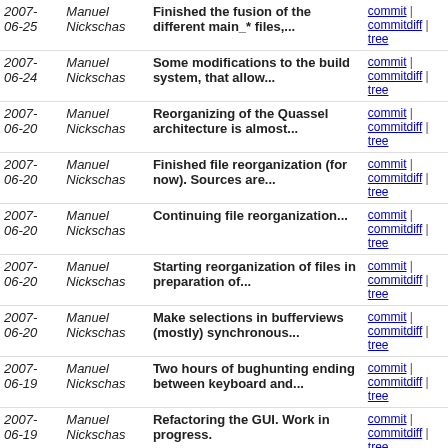| Date | Author | Message | Links |
| --- | --- | --- | --- |
| 2007-06-25 | Manuel Nickschas | Finished the fusion of the different main_* files,... | commit | commitdiff | tree |
| 2007-06-24 | Manuel Nickschas | Some modifications to the build system, that allow... | commit | commitdiff | tree |
| 2007-06-20 | Manuel Nickschas | Reorganizing of the Quassel architecture is almost... | commit | commitdiff | tree |
| 2007-06-20 | Manuel Nickschas | Finished file reorganization (for now). Sources are... | commit | commitdiff | tree |
| 2007-06-20 | Manuel Nickschas | Continuing file reorganization... | commit | commitdiff | tree |
| 2007-06-20 | Manuel Nickschas | Starting reorganization of files in preparation of... | commit | commitdiff | tree |
| 2007-06-20 | Manuel Nickschas | Make selections in bufferviews (mostly) synchronous... | commit | commitdiff | tree |
| 2007-06-19 | Manuel Nickschas | Two hours of bughunting ending between keyboard and... | commit | commitdiff | tree |
| 2007-06-19 | Manuel Nickschas | Refactoring the GUI. Work in progress. | commit | commitdiff | tree |
| 2007-06-19 | Manuel Nickschas | Only expand network items in bufferviews. | commit | commitdiff | tree |
| 2007-06-19 | Manuel Nickschas | Make BufferView trees expanded by default. | commit | commitdiff | tree |
| 2007-06-19 | Manuel Nickschas | Setting status buffer active on connection (by creating... | commit | commitdiff | tree |
| 2007-06-19 | Manuel Nickschas | Big update this time - Core has been redesigned to... | commit | commitdiff | tree |
| 2007- | Manuel | Renamed NetworkView[Widget] | commit | |